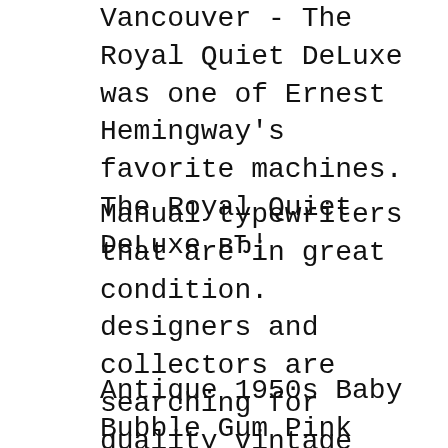Vancouver - The Royal Quiet DeLuxe was one of Ernest Hemingway's favorite machines. The Royal Quiet DeLuxe вЂ¦
Manual typewriters that are in great condition. designers and collectors are searching for quality vintage typewriters. 1950's Royal Quiet Deluxe Typewriter. 2014-09-13В В· Vintage, manual typewriter. Brand: Royal. 1947 Royal Quiet DeLuxe Typewriter Manual The вЂ™47 Royal Quiet DeLuxe is a great typewriter and
Antique 1950s Baby Bubble Gum Pink Royal Quiet Deluxe Manual Portable Typewriter With Tweede Carrying Case Vintage Quiet Deluxe Royal Typewriter